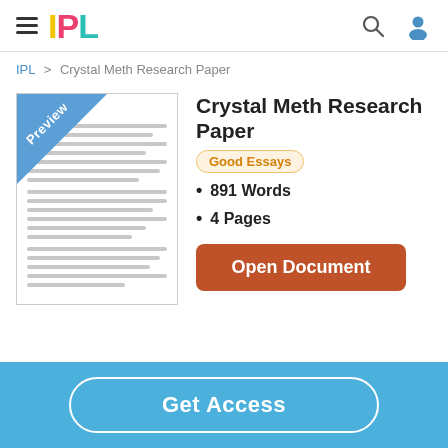IPL
IPL > Crystal Meth Research Paper
Crystal Meth Research Paper
Good Essays
891 Words
4 Pages
[Figure (illustration): Document preview thumbnail with blue 'Preview' corner banner and horizontal text lines representing document content]
Open Document
Get Access